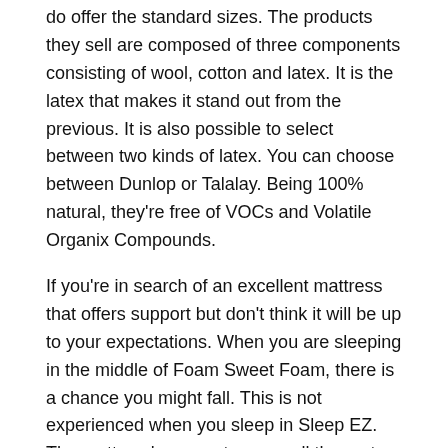do offer the standard sizes. The products they sell are composed of three components consisting of wool, cotton and latex. It is the latex that makes it stand out from the previous. It is also possible to select between two kinds of latex. You can choose between Dunlop or Talalay. Being 100% natural, they're free of VOCs and Volatile Organix Compounds.
If you're in search of an excellent mattress that offers support but don't think it will be up to your expectations. When you are sleeping in the middle of Foam Sweet Foam, there is a chance you might fall. This is not experienced when you sleep in Sleep EZ. The mattress's supports cover all the parts on the mattress so you are safe.
For pricing, here's one for Queen Sizes:
The 10-inch model, which has three layers costs $1,599
The 13-inch model, which has four layers costs $1,999.